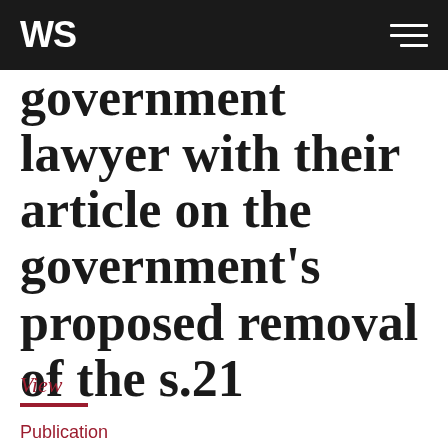WS
government lawyer with their article on the government's proposed removal of the s.21
View
Publication
The end of s.21...